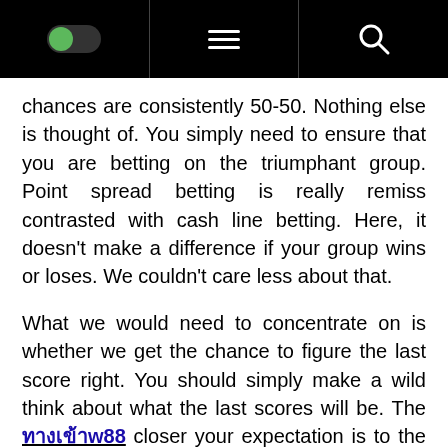[Navigation bar with toggle, hamburger menu, and search icon]
chances are consistently 50-50. Nothing else is thought of. You simply need to ensure that you are betting on the triumphant group. Point spread betting is really remiss contrasted with cash line betting. Here, it doesn’t make a difference if your group wins or loses. We couldn’t care less about that.
What we would need to concentrate on is whether we get the chance to figure the last score right. You should simply make a wild think about what the last scores will be. The ทางเข้าw88 closer your expectation is to the genuine outcomes would mean greater cash for you. It resembles the cost is correct. You think about how much the item is. Here, you have to think about what